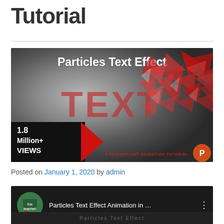Tutorial
[Figure (screenshot): YouTube thumbnail for a PowerPoint tutorial about Particles Text Effect animation, showing 'Particles Text Effect' title in white, large red/transparent TEXT letters, red geometric triangles scattered on the right side, a black badge on the left reading '1.8 Million+ VIEWS', a red arrow pointing right, and text 'A POWERPOINT ANIMATION TUTORIAL' with a PowerPoint logo]
Posted on January 1, 2020 by admin
[Figure (screenshot): YouTube video embed showing 'Particles Text Effect Animation in ...' with The PowerPoint Teacher channel icon (green chalkboard circle), video title, and menu dots. Bottom shows a blurred video frame.]